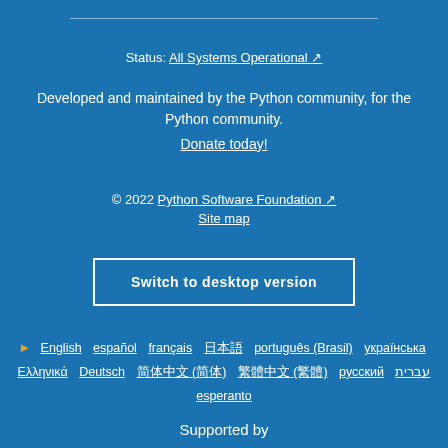Status: All Systems Operational ↗
Developed and maintained by the Python community, for the Python community. Donate today!
© 2022 Python Software Foundation ↗ Site map
Switch to desktop version
▶ English  español  français  日本語  português (Brasil)  українська  Ελληνικά  Deutsch  简体中文 (简体)  繁體中文 (繁體)  русский  עברית  esperanto
Supported by